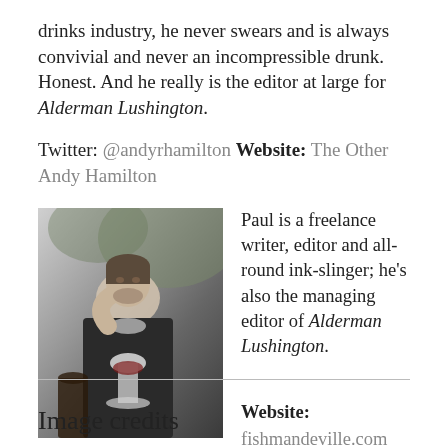drinks industry, he never swears and is always convivial and never an incompressible drunk. Honest. And he really is the editor at large for Alderman Lushington.
Twitter: @andyrhamilton Website: The Other Andy Hamilton
[Figure (photo): A man in a dark jacket drinking from a wine glass, with a red wine bottle visible in the foreground.]
Paul is a freelance writer, editor and all-round ink-slinger; he's also the managing editor of Alderman Lushington. Website: fishmandeville.com Twitter: @fishmandeville
Image credits